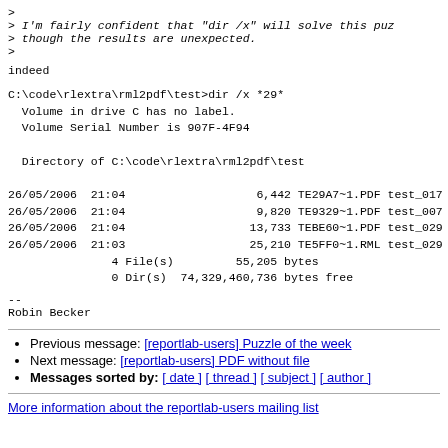> 
> I'm fairly confident that "dir /x" will solve this puz
> though the results are unexpected.
>
indeed
C:\code\rlextra\rml2pdf\test>dir /x *29*
  Volume in drive C has no label.
  Volume Serial Number is 907F-4F94

  Directory of C:\code\rlextra\rml2pdf\test

26/05/2006  21:04                   6,442 TE29A7~1.PDF test_017
26/05/2006  21:04                   9,820 TE9329~1.PDF test_007
26/05/2006  21:04                  13,733 TEBE60~1.PDF test_029
26/05/2006  21:03                  25,210 TE5FF0~1.RML test_029
               4 File(s)         55,205 bytes
               0 Dir(s)  74,329,460,736 bytes free
--
Robin Becker
Previous message: [reportlab-users] Puzzle of the week
Next message: [reportlab-users] PDF without file
Messages sorted by: [ date ] [ thread ] [ subject ] [ author ]
More information about the reportlab-users mailing list